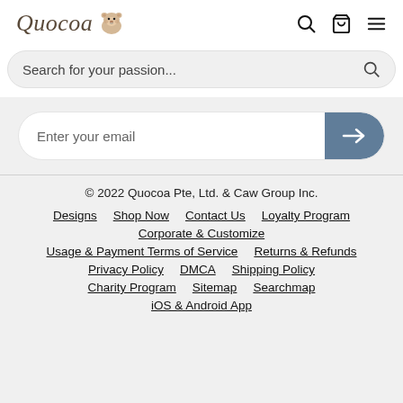[Figure (logo): Quocoa logo with italic serif text and a quokka/hamster animal icon]
Search for your passion...
Enter your email
© 2022 Quocoa Pte, Ltd. & Caw Group Inc.
Designs | Shop Now | Contact Us | Loyalty Program
Corporate & Customize
Usage & Payment Terms of Service | Returns & Refunds
Privacy Policy | DMCA | Shipping Policy
Charity Program | Sitemap | Searchmap
iOS & Android App